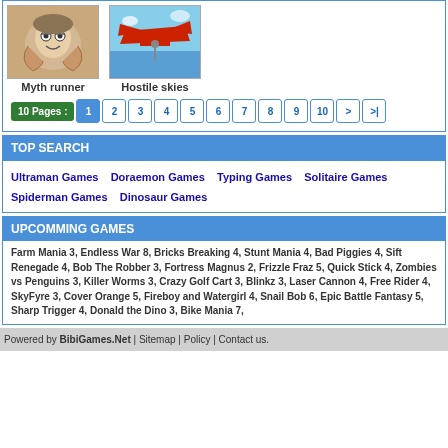[Figure (illustration): Myth runner game thumbnail - cartoon character with glasses]
Myth runner
[Figure (illustration): Hostile skies game thumbnail - red biplane in flight]
Hostile skies
10 Pages : 1 2 3 4 5 6 7 8 9 10 > >|
TOP SEARCH
Ultraman Games   Doraemon Games   Typing Games   Solitaire Games   Spiderman Games   Dinosaur Games
UPCOMMING GAMES
Farm Mania 3, Endless War 8, Bricks Breaking 4, Stunt Mania 4, Bad Piggies 4, Sift Renegade 4, Bob The Robber 3, Fortress Magnus 2, Frizzle Fraz 5, Quick Stick 4, Zombies vs Penguins 3, Killer Worms 3, Crazy Golf Cart 3, Blinkz 3, Laser Cannon 4, Free Rider 4, SkyFyre 3, Cover Orange 5, Fireboy and Watergirl 4, Snail Bob 6, Epic Battle Fantasy 5, Sharp Trigger 4, Donald the Dino 3, Bike Mania 7,
Powered by BibiGames.Net | Sitemap | Policy | Contact us.